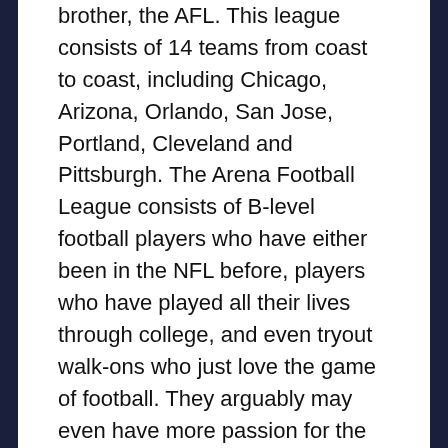brother, the AFL. This league consists of 14 teams from coast to coast, including Chicago, Arizona, Orlando, San Jose, Portland, Cleveland and Pittsburgh. The Arena Football League consists of B-level football players who have either been in the NFL before, players who have played all their lives through college, and even tryout walk-ons who just love the game of football. They arguably may even have more passion for the game than NFL players as they compromise with a significant pay difference. Despite where they originated from, many of these players are looking to be recognized by scouts and to one day be for their...